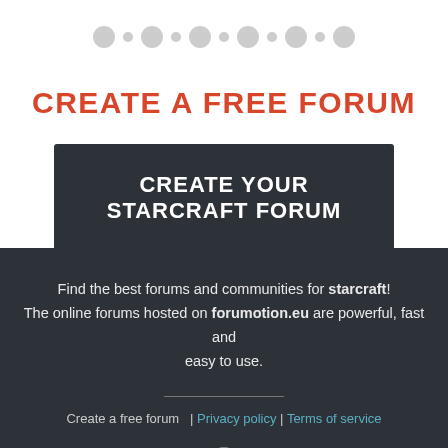[Figure (other): Navigation dots row with alternating large and small gray circles]
CREATE A FREE FORUM
CREATE YOUR STARCRAFT FORUM
Find the best forums and communities for starcraft! The online forums hosted on forumotion.eu are powerful, fast and easy to use.
Create a free forum   |  Privacy policy | Terms of service